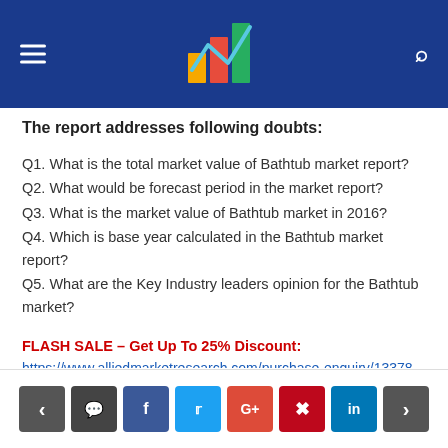Allied Market Research logo header with navigation
The report addresses following doubts:
Q1. What is the total market value of Bathtub market report?
Q2. What would be forecast period in the market report?
Q3. What is the market value of Bathtub market in 2016?
Q4. Which is base year calculated in the Bathtub market report?
Q5. What are the Key Industry leaders opinion for the Bathtub market?
FLASH SALE – Get Up To 25% Discount: https://www.alliedmarketresearch.com/purchase-enquiry/13378
Navigation bar with social share buttons